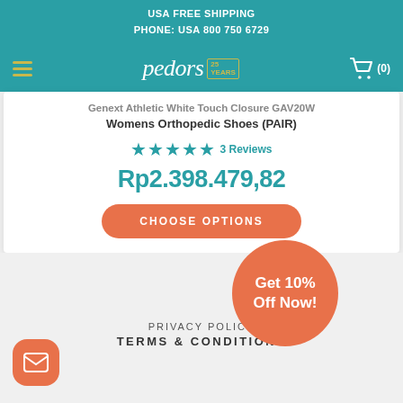USA FREE SHIPPING
PHONE: USA 800 750 6729
[Figure (logo): Pedors 25 Years logo in white on teal background with hamburger menu and cart icon]
Genext Athletic White Touch Closure GAV20W Womens Orthopedic Shoes (PAIR)
★★★★½ 3 Reviews
Rp2.398.479,82
CHOOSE OPTIONS
PRIVACY POLICY
TERMS & CONDITIONS
[Figure (infographic): Get 10% Off Now! promotional circular badge in orange]
[Figure (illustration): Email/envelope icon in orange rounded square button]